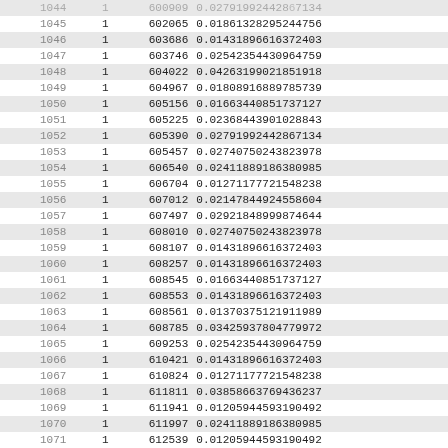| idx | 1 | id | value |
| --- | --- | --- | --- |
| 1044 | 1 | 600909 | 0.0279199244286?134 |
| 1045 | 1 | 602065 | 0.01861328295244756 |
| 1046 | 1 | 603686 | 0.01431896616372403 |
| 1047 | 1 | 603746 | 0.02542354430964759 |
| 1048 | 1 | 604022 | 0.04263199021851918 |
| 1049 | 1 | 604967 | 0.01808916889785739 |
| 1050 | 1 | 605156 | 0.01663440851737127 |
| 1051 | 1 | 605225 | 0.02368443901028843 |
| 1052 | 1 | 605390 | 0.02791992442867134 |
| 1053 | 1 | 605457 | 0.02740750243823978 |
| 1054 | 1 | 606540 | 0.02411889186380985 |
| 1055 | 1 | 606704 | 0.01271177721548238 |
| 1056 | 1 | 607012 | 0.02147844924558604 |
| 1057 | 1 | 607497 | 0.02921848999874644 |
| 1058 | 1 | 608010 | 0.02740750243823978 |
| 1059 | 1 | 608107 | 0.01431896616372403 |
| 1060 | 1 | 608257 | 0.01431896616372403 |
| 1061 | 1 | 608545 | 0.01663440851737127 |
| 1062 | 1 | 608553 | 0.01431896616372403 |
| 1063 | 1 | 608561 | 0.01370375121911989 |
| 1064 | 1 | 608785 | 0.03425937804779972 |
| 1065 | 1 | 609253 | 0.02542354430964759 |
| 1066 | 1 | 610421 | 0.01431896616372403 |
| 1067 | 1 | 610824 | 0.01271177721548238 |
| 1068 | 1 | 611811 | 0.03858663769436237 |
| 1069 | 1 | 611941 | 0.01205944593190492 |
| 1070 | 1 | 611997 | 0.02411889186380985 |
| 1071 | 1 | 612539 | 0.01205944593190492 |
| 1072 | 1 | 612051 | 0.01861328295244756 |